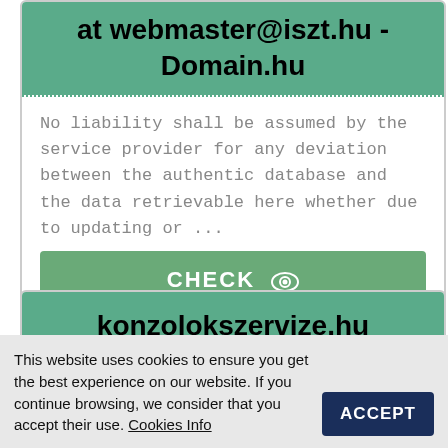at webmaster@iszt.hu - Domain.hu
No liability shall be assumed by the service provider for any deviation between the authentic database and the data retrievable here whether due to updating or ...
CHECK
konzolokszervize.hu tapasztalatok - GAMEPOD.hu
This website uses cookies to ensure you get the best experience on our website. If you continue browsing, we consider that you accept their use. Cookies Info